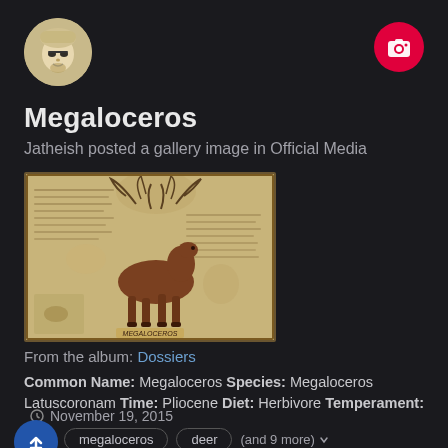[Figure (logo): Round avatar with illustrated character wearing sunglasses and hat, black and white style on beige background]
Megaloceros
Jatheish posted a gallery image in Official Media
[Figure (illustration): Game dossier artwork showing a Megaloceros (giant deer/moose) with large antlers, brown body, illustrated in a field journal/sketchbook style with handwritten notes and sketches surrounding it. Label reads MEGALOCEROS.]
From the album: Dossiers
Common Name: Megaloceros Species: Megaloceros Latuscoronam Time: Pliocene Diet: Herbivore Temperament:
November 19, 2015
megaloceros
deer
(and 9 more)